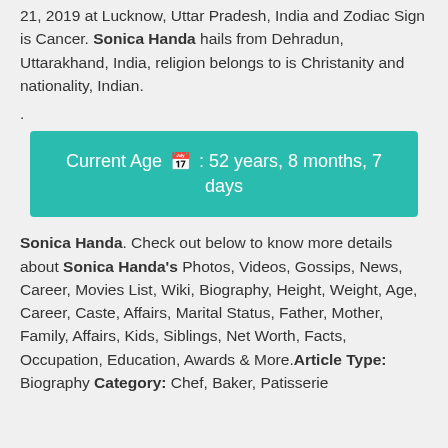21, 2019 at Lucknow, Uttar Pradesh, India and Zodiac Sign is Cancer. Sonica Handa hails from Dehradun, Uttarakhand, India, religion belongs to is Christanity and nationality, Indian.
.
[Figure (infographic): Teal colored box displaying: Current Age (calendar icon) : 52 years, 8 months, 7 days]
Sonica Handa. Check out below to know more details about Sonica Handa's Photos, Videos, Gossips, News, Career, Movies List, Wiki, Biography, Height, Weight, Age, Career, Caste, Affairs, Marital Status, Father, Mother, Family, Affairs, Kids, Siblings, Net Worth, Facts, Occupation, Education, Awards & More. Article Type: Biography Category: Chef, Baker, Patisserie